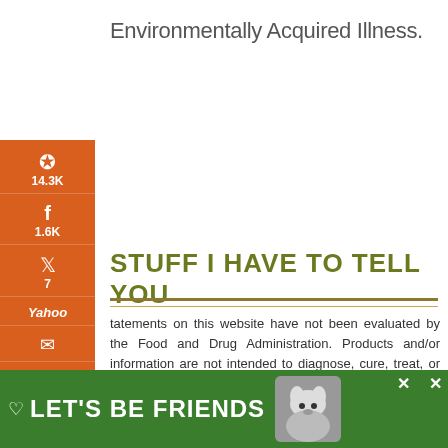Environmentally Acquired Illness.
STUFF I HAVE TO TELL YOU
statements on this website have not been evaluated by the Food and Drug Administration. Products and/or information are not intended to diagnose, cure, treat, or prevent any disease. Readers are advised to do their own research and make decisions in partnership with your health care provider. If you are pregnant, nursing, have a medical condition, or are taking any medication, please consult your physician. Nothing you read here should be relied upon to determine dietary changes, a medical diagnosis or courses of treatment.
[Figure (screenshot): Orange sidebar with social share buttons: Pinterest (14.3K), Facebook (1.6K), Twitter (7), Yahoo, Email, Print. Total 15.8K SHARES shown at bottom.]
[Figure (infographic): Green ad banner at bottom reading LET'S BE FRIENDS with dog photo and close buttons]